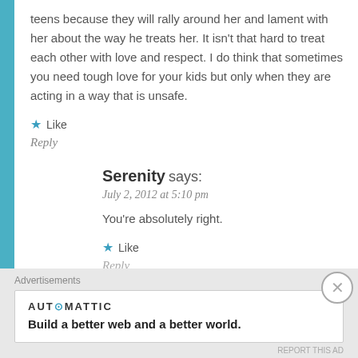teens because they will rally around her and lament with her about the way he treats her. It isn't that hard to treat each other with love and respect. I do think that sometimes you need tough love for your kids but only when they are acting in a way that is unsafe.
★ Like
Reply
Serenity says:
July 2, 2012 at 5:10 pm
You're absolutely right.
★ Like
Reply
Advertisements
[Figure (logo): Automattic logo with tagline: Build a better web and a better world.]